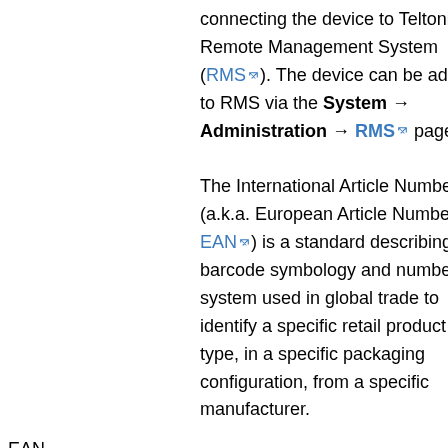connecting the device to Teltonika's Remote Management System (RMS). The device can be added to RMS via the System → Administration → RMS page
EAN - The International Article Number (a.k.a. European Article Number or EAN) is a standard describing a barcode symbology and numbering system used in global trade to identify a specific retail product type, in a specific packaging configuration, from a specific manufacturer.